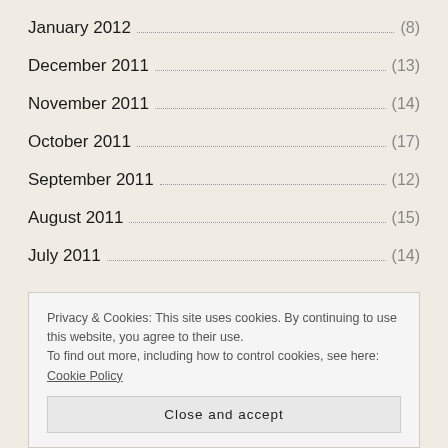January 2012 (8)
December 2011 (13)
November 2011 (14)
October 2011 (17)
September 2011 (12)
August 2011 (15)
July 2011 (14)
Privacy & Cookies: This site uses cookies. By continuing to use this website, you agree to their use.
To find out more, including how to control cookies, see here: Cookie Policy
Close and accept